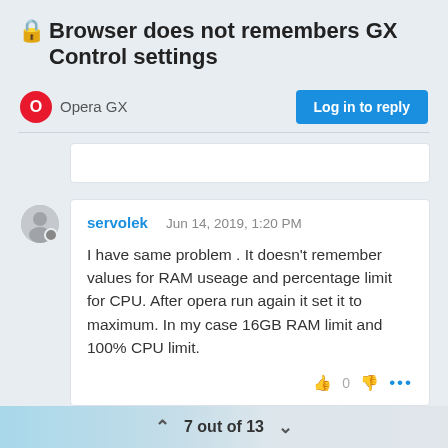🔒 Browser does not remembers GX Control settings
Opera GX
Log in to reply
servolek   Jun 14, 2019, 1:20 PM

I have same problem . It doesn't remember values for RAM useage and percentage limit for CPU. After opera run again it set it to maximum. In my case 16GB RAM limit and 100% CPU limit.
7 out of 13